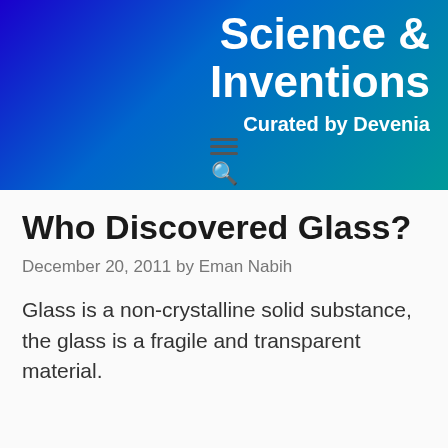Science & Inventions
Curated by Devenia
Who Discovered Glass?
December 20, 2011 by Eman Nabih
Glass is a non-crystalline solid substance, the glass is a fragile and transparent material.